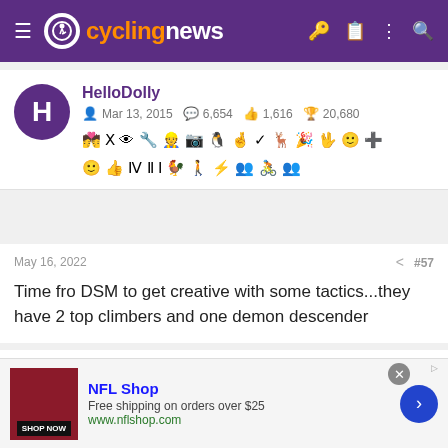cyclingnews
HelloDolly
Mar 13, 2015  6,654  1,616  20,680
May 16, 2022  #57
Time fro DSM to get creative with some tactics...they have 2 top climbers and one demon descender
Gigs_98
[Figure (screenshot): NFL Shop advertisement banner with shop now button and arrow navigation]